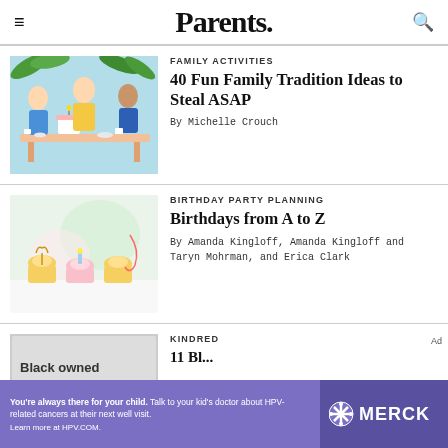Parents.
FAMILY ACTIVITIES
40 Fun Family Tradition Ideas to Steal ASAP
By Michelle Crouch
[Figure (illustration): Illustration of a family with mother and children celebrating around a table with cake and tea.]
BIRTHDAY PARTY PLANNING
Birthdays from A to Z
By Amanda Kingloff, Amanda Kingloff and Taryn Mohrman, and Erica Clark
[Figure (photo): Photo of cupcakes with heart and birthday candle decorations on a light background.]
KINDRED
[Figure (photo): Black owned article thumbnail image.]
Ad
You're always there for your child. Talk to your kid's doctor about HPV-related cancers at their next well visit. Learn more at HPV.COM.
[Figure (logo): MERCK logo with snowflake icon.]